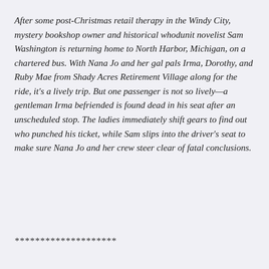After some post-Christmas retail therapy in the Windy City, mystery bookshop owner and historical whodunit novelist Sam Washington is returning home to North Harbor, Michigan, on a chartered bus. With Nana Jo and her gal pals Irma, Dorothy, and Ruby Mae from Shady Acres Retirement Village along for the ride, it's a lively trip. But one passenger is not so lively—a gentleman Irma befriended is found dead in his seat after an unscheduled stop. The ladies immediately shift gears to find out who punched his ticket, while Sam slips into the driver's seat to make sure Nana Jo and her crew steer clear of fatal conclusions.
********************